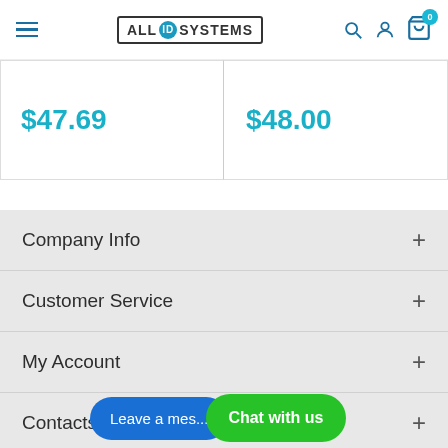ALL ID SYSTEMS - navigation header with hamburger, logo, search, account, cart icons
$47.69
$48.00
Company Info
Customer Service
My Account
Contacts
Leave a mes...
Chat with us